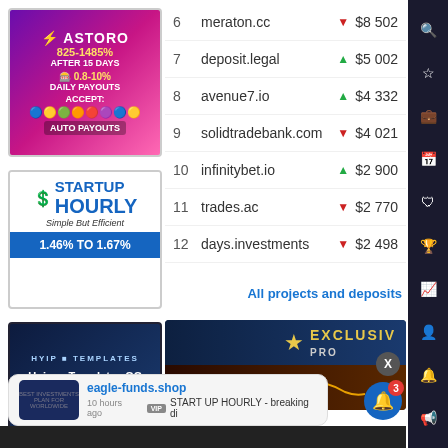[Figure (photo): Astoro investment advertisement banner with purple/pink gradient background showing logo, 825-1485% after 15 days, 0.8-10% daily payouts, accept various crypto, auto payouts]
[Figure (photo): Startup Hourly advertisement showing dollar sign logo, Simple But Efficient tagline, 1.46% TO 1.67% returns]
[Figure (photo): HYIP Templates advertisement on dark blue background showing Unique Templates GC and Used Templates GC]
| # | Site |  | Amount |
| --- | --- | --- | --- |
| 6 | meraton.cc | ▼ | $8 502 |
| 7 | deposit.legal | ▲ | $5 002 |
| 8 | avenue7.io | ▲ | $4 332 |
| 9 | solidtradebank.com | ▼ | $4 021 |
| 10 | infinitybet.io | ▲ | $2 900 |
| 11 | trades.ac | ▼ | $2 770 |
| 12 | days.investments | ▼ | $2 498 |
All projects and deposits
[Figure (photo): Exclusive project banner with dark blue background, gold star, EXCLUSIVE text]
eagle-funds.shop
10 hours ago
VIP START UP HOURLY - breaking di